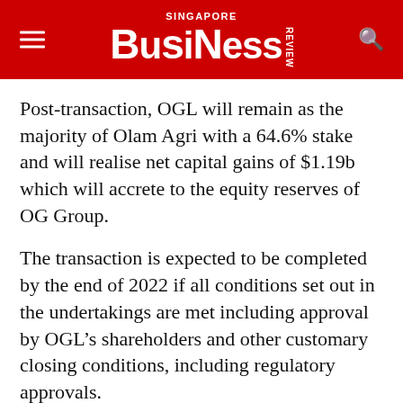SINGAPORE BUSINESS REVIEW
Post-transaction, OGL will remain as the majority of Olam Agri with a 64.6% stake and will realise net capital gains of $1.19b which will accrete to the equity reserves of OG Group.
The transaction is expected to be completed by the end of 2022 if all conditions set out in the undertakings are met including approval by OGL’s shareholders and other customary closing conditions, including regulatory approvals.
Temasek, OGL’s majority shareholder, has already provided an irrevocable undertaking to vote in favour of the transaction, the group said.
Meanwhile, Rothschild & Co Singapore Limited and